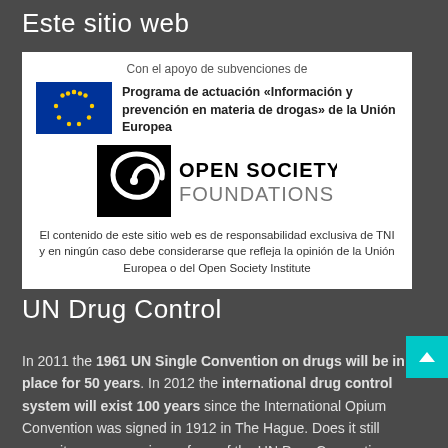Este sitio web
[Figure (logo): White box containing EU funding logos and disclaimer. Shows EU flag with text 'Programa de actuación «Información y prevención en materia de drogas» de la Unión Europea', Open Society Foundations logo, and disclaimer text in Spanish.]
UN Drug Control
In 2011 the 1961 UN Single Convention on drugs will be in place for 50 years. In 2012 the international drug control system will exist 100 years since the International Opium Convention was signed in 1912 in The Hague. Does it still serve its purpose or is a reform of the UN Drug Conventions needed? This